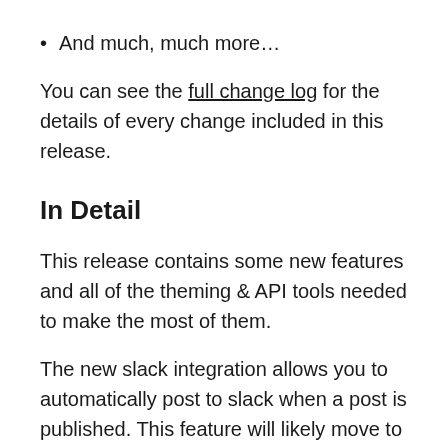And much, much more…
You can see the full change log for the details of every change included in this release.
In Detail
This release contains some new features and all of the theming & API tools needed to make the most of them.
The new slack integration allows you to automatically post to slack when a post is published. This feature will likely move to an internal app, and then a default installed external app over the coming months. This is our first